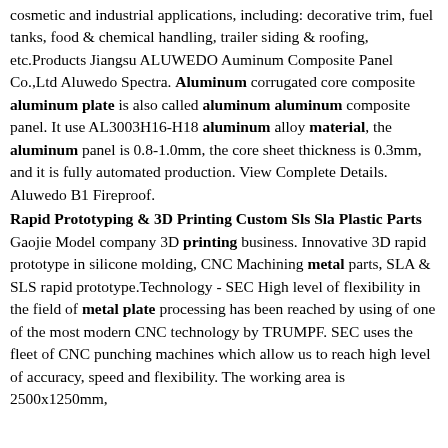cosmetic and industrial applications, including: decorative trim, fuel tanks, food & chemical handling, trailer siding & roofing, etc.Products Jiangsu ALUWEDO Auminum Composite Panel Co.,Ltd Aluwedo Spectra. Aluminum corrugated core composite aluminum plate is also called aluminum aluminum composite panel. It use AL3003H16-H18 aluminum alloy material, the aluminum panel is 0.8-1.0mm, the core sheet thickness is 0.3mm, and it is fully automated production. View Complete Details. Aluwedo B1 Fireproof.
Rapid Prototyping & 3D Printing Custom Sls Sla Plastic Parts
Gaojie Model company 3D printing business. Innovative 3D rapid prototype in silicone molding, CNC Machining metal parts, SLA & SLS rapid prototype.Technology - SEC High level of flexibility in the field of metal plate processing has been reached by using of one of the most modern CNC technology by TRUMPF. SEC uses the fleet of CNC punching machines which allow us to reach high level of accuracy, speed and flexibility. The working area is 2500x1250mm,